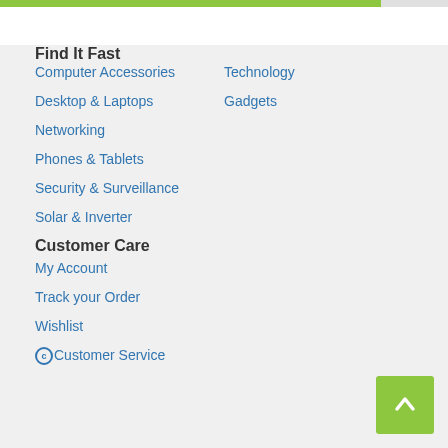Find It Fast
Computer Accessories
Technology
Desktop & Laptops
Gadgets
Networking
Phones & Tablets
Security & Surveillance
Solar & Inverter
Customer Care
My Account
Track your Order
Wishlist
Customer Service